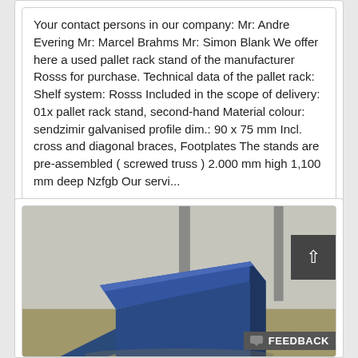Your contact persons in our company: Mr: Andre Evering Mr: Marcel Brahms Mr: Simon Blank We offer here a used pallet rack stand of the manufacturer Rosss for purchase. Technical data of the pallet rack: Shelf system: Rosss Included in the scope of delivery: 01x pallet rack stand, second-hand Material colour: sendzimir galvanised profile dim.: 90 x 75 mm Incl. cross and diagonal braces, Footplates The stands are pre-assembled ( screwed truss ) 2.000 mm high 1,100 mm deep Nzfgb Our servi...
[Figure (photo): Photo of a blue pallet rack stand / industrial shelf component shown at an angle on a concrete floor near a wall.]